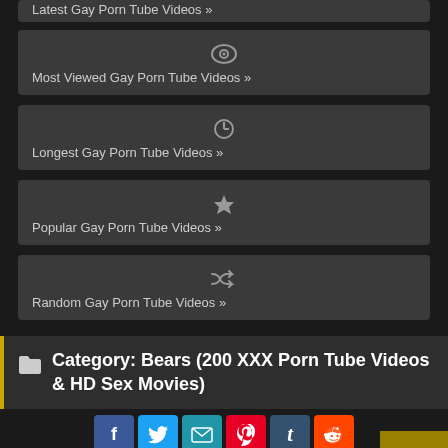Latest Gay Porn Tube Videos »
Most Viewed Gay Porn Tube Videos »
Longest Gay Porn Tube Videos »
Popular Gay Porn Tube Videos »
Random Gay Porn Tube Videos »
Category: Bears (200 XXX Porn Tube Videos & HD Sex Movies)
[Figure (screenshot): Social share buttons: Facebook, Twitter, Email, Pinterest, Tumblr, Reddit, Blogger, WordPress, VK, More]
[Figure (photo): Bottom partial image of adult content thumbnail]